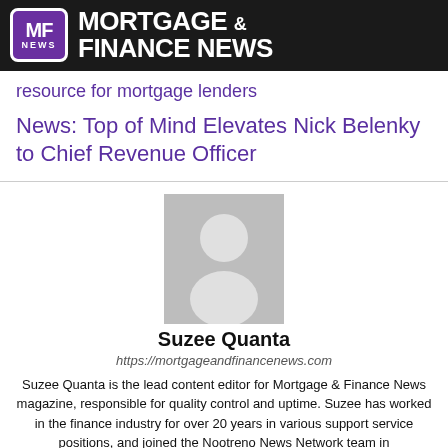MORTGAGE & FINANCE NEWS
resource for mortgage lenders
News: Top of Mind Elevates Nick Belenky to Chief Revenue Officer
[Figure (photo): Author avatar placeholder silhouette image in gray]
Suzee Quanta
https://mortgageandfinancenews.com
Suzee Quanta is the lead content editor for Mortgage & Finance News magazine, responsible for quality control and uptime. Suzee has worked in the finance industry for over 20 years in various support service positions, and joined the Nootreno News Network team in...